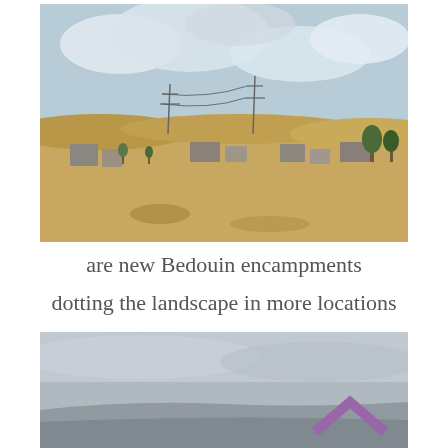[Figure (photo): Landscape photo showing a Bedouin encampment with low buildings and structures in a dry, sandy terrain under a partly cloudy sky, with power line towers visible in the background.]
are new Bedouin encampments
dotting the landscape in more locations
[Figure (photo): Partial photo showing a wide landscape under an overcast grey sky, with a curved road or terrain feature visible at the bottom, and a purple/mauve upward chevron arrow overlaid in the lower right corner.]